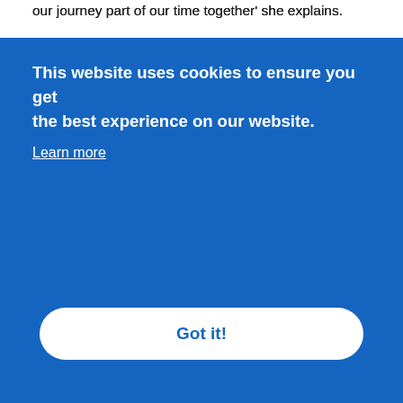our journey part of our time together' she explains.
'I also go to the local gym and, when weather permits, I travel there by bike – I'm doing there anyway, so I may as well get some more exercise in on my journey!' smiles Deb. 'A few of us older adults from the gym have started to cycle there if we can. 'I don't feel confident on my bike if it's rainy and wet, but in those cases I'll walk instead of drive. There's always an active option.'
[Figure (screenshot): Cookie consent overlay banner with blue background. Text reads: 'This website uses cookies to ensure you get the best experience on our website.' with a 'Learn more' link and a 'Got it!' button.]
An active approach for every ability
Despite this, Deb recognises active travel can be problematic for some older adults. 'My husband has arthritis,' she explains. 'This can make some types of physical activity difficult for him. To overcome this, he's become a volunteer walk leader at a council-led programme called Be Well Wigan, providing guided walks to get people walking and cycling. It's a supportive group that gives comfort to older adults getting into their walking